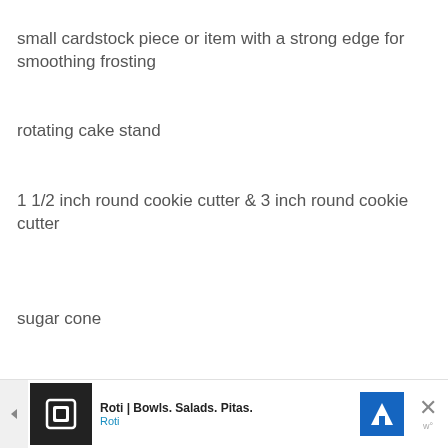small cardstock piece or item with a strong edge for smoothing frosting
rotating cake stand
1 1/2 inch round cookie cutter & 3 inch round cookie cutter
sugar cone
cake stand
Candy in the shape of rocks (smaller is better)